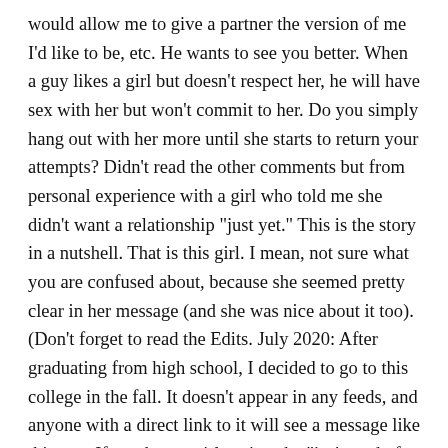would allow me to give a partner the version of me I'd like to be, etc. He wants to see you better. When a guy likes a girl but doesn't respect her, he will have sex with her but won't commit to her. Do you simply hang out with her more until she starts to return your attempts? Didn't read the other comments but from personal experience with a girl who told me she didn't want a relationship "just yet." This is the story in a nutshell. That is this girl. I mean, not sure what you are confused about, because she seemed pretty clear in her message (and she was nice about it too). (Don't forget to read the Edits. July 2020: After graduating from high school, I decided to go to this college in the fall. It doesn't appear in any feeds, and anyone with a direct link to it will see a message like this one. If you hear a girl saying she "isn't ready for a relationship", she might be referencing a recent break-up, or unwanted attention she is receiving from another guy. Don't hold back your feelings. The difference being we met and got into the relationship and only then I got the whole "I'm not ready" speech. He wants you. If she wanted to be in a relationship she would be